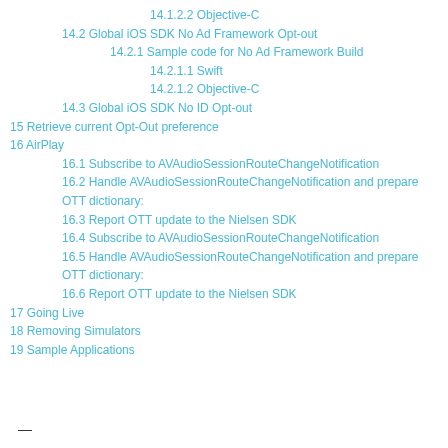14.1.2.2 Objective-C
14.2 Global iOS SDK No Ad Framework Opt-out
14.2.1 Sample code for No Ad Framework Build
14.2.1.1 Swift
14.2.1.2 Objective-C
14.3 Global iOS SDK No ID Opt-out
15 Retrieve current Opt-Out preference
16 AirPlay
16.1 Subscribe to AVAudioSessionRouteChangeNotification
16.2 Handle AVAudioSessionRouteChangeNotification and prepare OTT dictionary:
16.3 Report OTT update to the Nielsen SDK
16.4 Subscribe to AVAudioSessionRouteChangeNotification
16.5 Handle AVAudioSessionRouteChangeNotification and prepare OTT dictionary:
16.6 Report OTT update to the Nielsen SDK
17 Going Live
18 Removing Simulators
19 Sample Applications
—